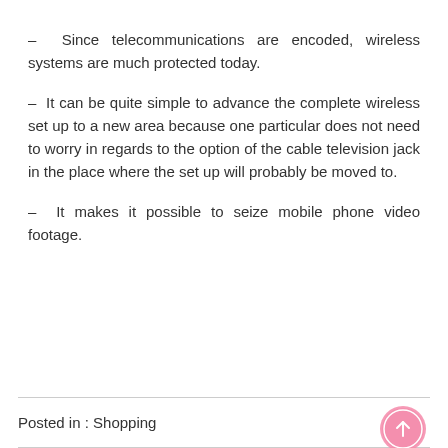– Since telecommunications are encoded, wireless systems are much protected today.
– It can be quite simple to advance the complete wireless set up to a new area because one particular does not need to worry in regards to the option of the cable television jack in the place where the set up will probably be moved to.
– It makes it possible to seize mobile phone video footage.
Posted in : Shopping